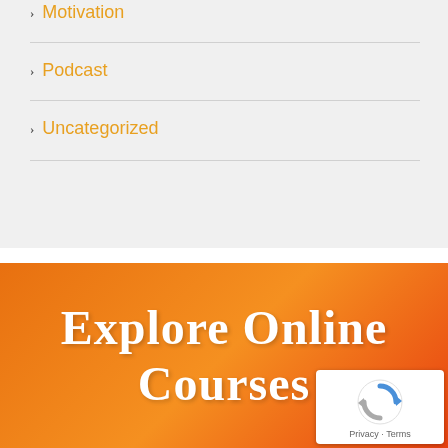Motivation
Podcast
Uncategorized
[Figure (infographic): Orange gradient banner with cursive white text reading 'Explore Online Courses' and a Google reCAPTCHA badge in the bottom-right corner]